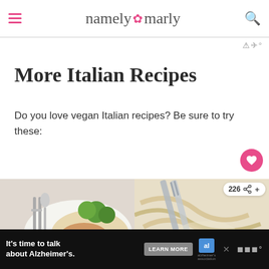namely marly
More Italian Recipes
Do you love vegan Italian recipes? Be sure to try these:
[Figure (photo): Two food photos side by side: left shows a plate with pasta, broccoli and vegetables; right shows a close-up of creamy pasta/noodles with a fork. Share count badge shows 226. What's Next banner shows Pesto Veggie Burgers.]
It's time to talk about Alzheimer's. LEARN MORE — alzheimer's association